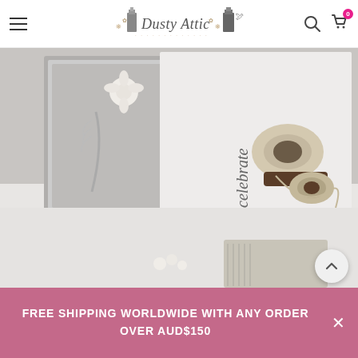Dusty Attic — navigation header with hamburger menu, logo, search and cart icons
[Figure (photo): Crafting/scrapbooking scene with decorated cards, twine rolls on a wooden spool, white fluffy fabric background, striped notebook at bottom. Muted grey, white and beige tones.]
FREE SHIPPING WORLDWIDE WITH ANY ORDER OVER AUD$150